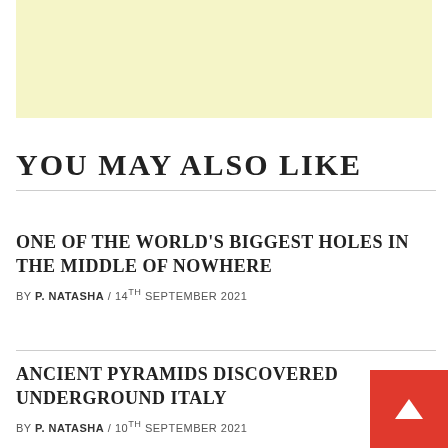[Figure (other): Light yellow advertisement banner placeholder]
YOU MAY ALSO LIKE
ONE OF THE WORLD'S BIGGEST HOLES IN THE MIDDLE OF NOWHERE
BY P. NATASHA / 14TH SEPTEMBER 2021
ANCIENT PYRAMIDS DISCOVERED UNDERGROUND ITALY
BY P. NATASHA / 10TH SEPTEMBER 2021